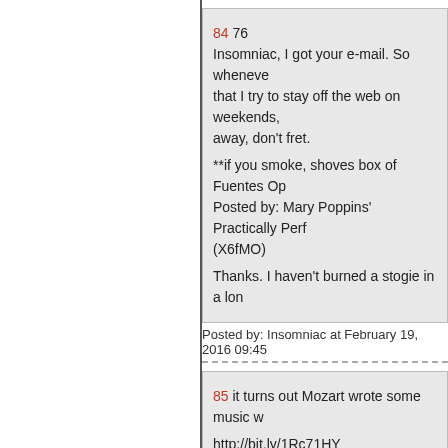84 76
Insomniac, I got your e-mail. So wheneve that I try to stay off the web on weekends, away, don't fret.

**if you smoke, shoves box of Fuentes Op Posted by: Mary Poppins' Practically Perf (X6fMO)

Thanks. I haven't burned a stogie in a lon
Posted by: Insomniac at February 19, 2016 09:45
85 it turns out Mozart wrote some music w

http://bit.ly/1Rc71HY

my guess is they were drunk
Posted by: Feh at February 19, 2016 09:46 AM (p
86 Vote Trump.

--------------